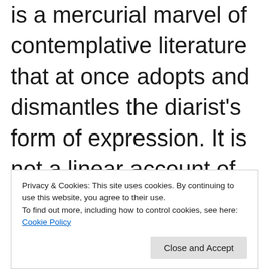is a mercurial marvel of contemplative literature that at once adopts and dismantles the diarist's form of expression. It is not a linear account of ordinary events, but a cyclical and recursive record of noticing the
Privacy & Cookies: This site uses cookies. By continuing to use this website, you agree to their use. To find out more, including how to control cookies, see here: Cookie Policy
Close and Accept